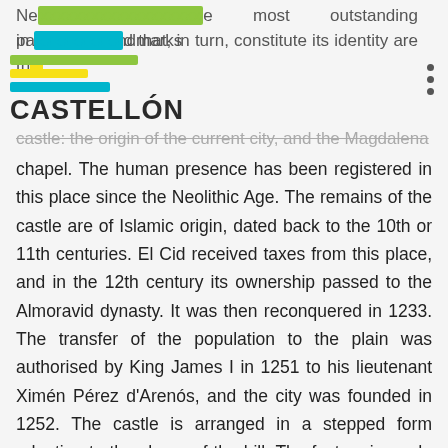Ne... the most outstanding patrimonial landmarks in... and that, in turn, constitute its identity are the case: the origin of the current city, and the Magdaleno
[Figure (logo): Castellón tourism logo with colored stripes (green, yellow, blue) above bold text CASTELLÓN]
chapel. The human presence has been registered in this place since the Neolithic Age. The remains of the castle are of Islamic origin, dated back to the 10th or 11th centuries. El Cid received taxes from this place, and in the 12th century its ownership passed to the Almoravid dynasty. It was then reconquered in 1233. The transfer of the population to the plain was authorised by King James I in 1251 to his lieutenant Ximén Pérez d'Arenós, and the city was founded in 1252. The castle is arranged in a stepped form adapting to the shape of the hill. The factory is made of stucco and masonry following the Arab building techniques. The Magdalena chapel is carved out